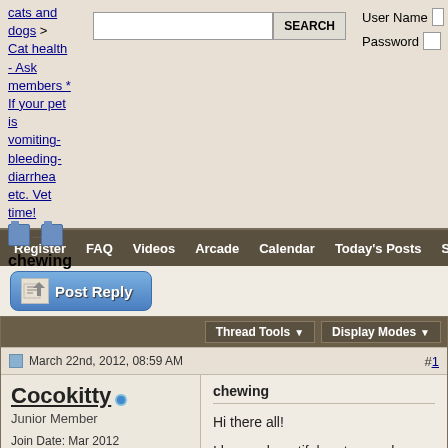cats and dogs > Cat health - Ask members * If your pet is vomiting-bleeding-diarrhea etc. Vet time!
chewing
Register  FAQ  Videos  Arcade  Calendar  Today's Posts  Search
[Figure (screenshot): Post Reply button]
[Figure (screenshot): Thread toolbar with Thread Tools and Display Modes dropdowns]
March 22nd, 2012, 08:59 AM  #1
Cocokitty  Junior Member  Join Date: Mar 2012  Location: Raleigh, NC  Posts: 1
chewing
Hi there all!

I have a beautiful part snowshoe kitty. But ever since I can remember she loves to eat wood and chew on wires. I have a spray bottle of water and she will sustain for awhile then another